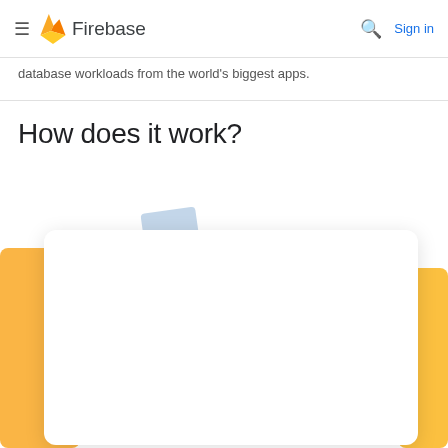Firebase
database workloads from the world's biggest apps.
How does it work?
[Figure (illustration): Partial illustration showing yellow and blue decorative shapes behind a white rounded card, part of a Firebase documentation diagram for 'How does it work?' section.]